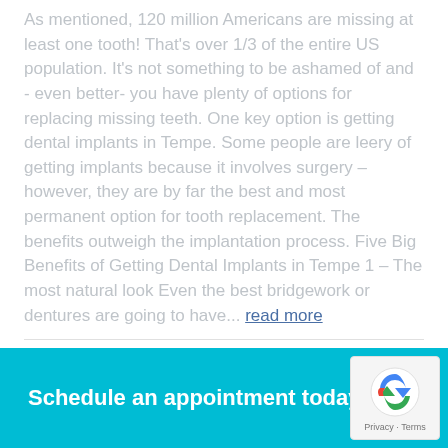As mentioned, 120 million Americans are missing at least one tooth! That's over 1/3 of the entire US population. It's not something to be ashamed of and - even better- you have plenty of options for replacing missing teeth. One key option is getting dental implants in Tempe. Some people are leery of getting implants because it involves surgery – however, they are by far the best and most permanent option for tooth replacement. The benefits outweigh the implantation process. Five Big Benefits of Getting Dental Implants in Tempe 1 – The most natural look Even the best bridgework or dentures are going to have... read more
Schedule an appointment today!